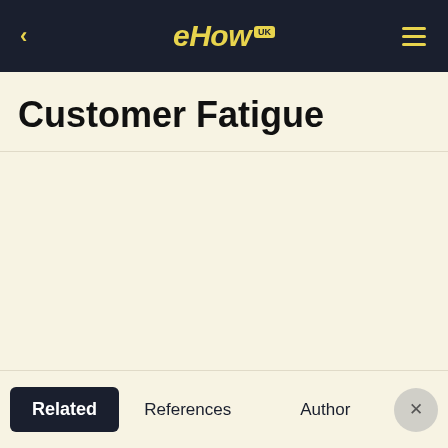eHow UK
Customer Fatigue
Related   References   Author